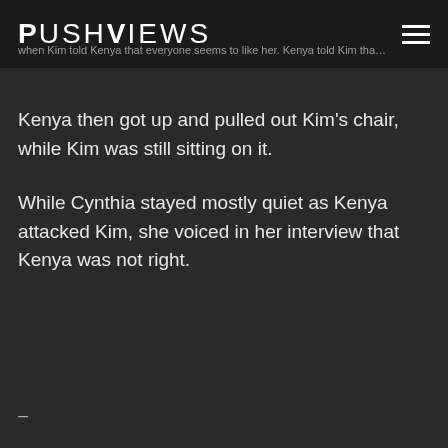PushViews — when Kim told Kenya that everyone seems to like her. Kenya told Kim that everyone thinks she's boring.
Kenya then got up and pulled out Kim's chair, while Kim was still sitting on it.
While Cynthia stayed mostly quiet as Kenya attacked Kim, she voiced in her interview that Kenya was not right.
–